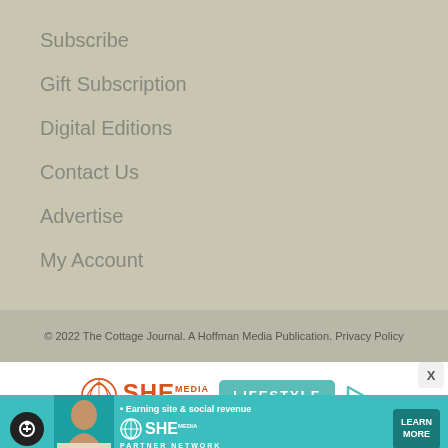Subscribe
Gift Subscription
Digital Editions
Contact Us
Advertise
My Account
© 2022 The Cottage Journal. A Hoffman Media Publication. Privacy Policy
[Figure (logo): SHE Media Collective Lifestyle advertisement with play button, Learn More and Privacy links]
[Figure (infographic): SHE Partner Network teal banner ad with woman photo, 'Earning site & social revenue', LEARN MORE button, and accessibility icon]